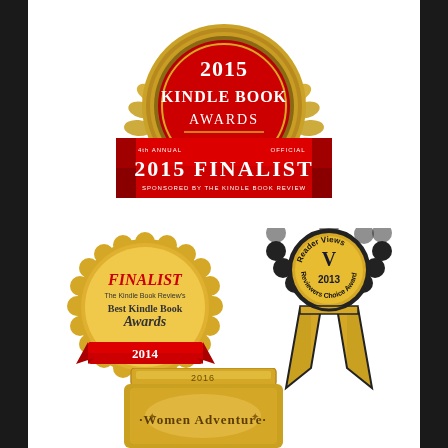[Figure (illustration): 2015 Kindle Book Awards 2015 Finalist badge - gold medal with red center and laurel wreath, red ribbon banner saying 2015 FINALIST, sponsored by The Kindle Book Review, 4th Annual Official]
[Figure (illustration): Gold scalloped seal: FINALIST, The Kindle Book Review's Best Kindle Book Awards, 2014, with red ribbon]
[Figure (illustration): Reader Views Reviewers Choice Award 2013 - gold ribbon badge with black outline, V logo]
[Figure (illustration): Gold shield award badge: 2016, Women Adventure, partially visible at bottom]